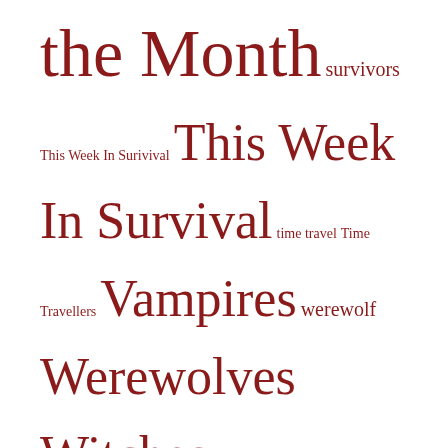the Month survivors This Week In Surivival This Week In Survival time travel Time Travellers Vampires werewolf Werewolves Witches zombie month Zombies
Survival Archives
October 2017 (1)
June 2016 (1)
May 2016 (2)
April 2016 (2)